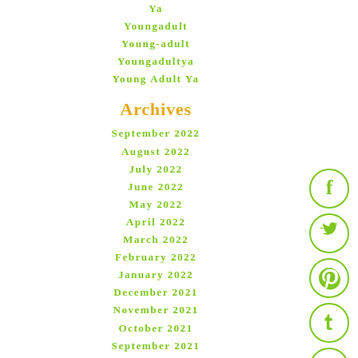Ya
Youngadult
Young-adult
Youngadultya
Young Adult Ya
Archives
September 2022
August 2022
July 2022
June 2022
May 2022
April 2022
March 2022
February 2022
January 2022
December 2021
November 2021
October 2021
September 2021
August 2021
July 2021
[Figure (infographic): Social media icon buttons: Facebook, Twitter, Pinterest, Tumblr, StumbleUpon — each in a green circle outline]